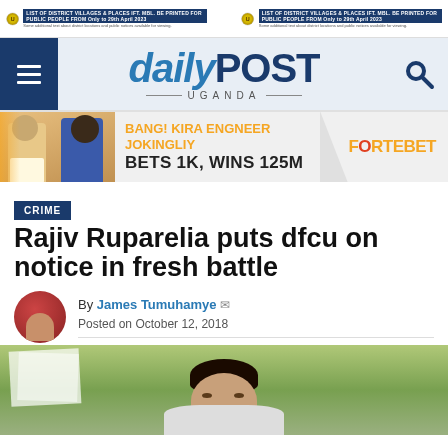[Figure (other): Top advertisement banner with two identical ads for a public service announcement, showing an official seal and text about district villages and places]
daily POST UGANDA
[Figure (other): ForteBet advertisement: BANG! KIRA ENGNEER JOKINGLIY BETS 1K, WINS 125M with FORTEBET logo]
CRIME
Rajiv Ruparelia puts dfcu on notice in fresh battle
By James Tumuhamye
Posted on October 12, 2018
[Figure (photo): Photo of Rajiv Ruparelia, a young man of South Asian descent, looking upward, with papers and a green background visible behind him]